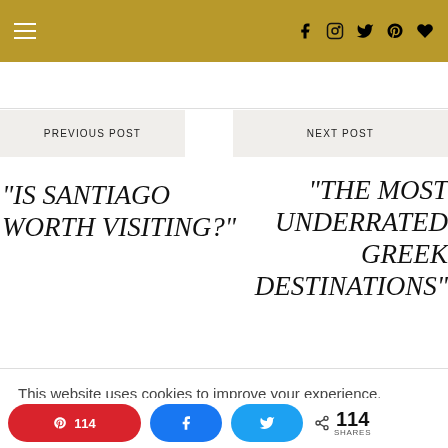Navigation header with hamburger menu and social icons (Facebook, Instagram, Twitter, Pinterest, Heart)
PREVIOUS POST
NEXT POST
"IS SANTIAGO WORTH VISITING?"
"THE MOST UNDERRATED GREEK DESTINATIONS"
This website uses cookies to improve your experience. We'll assume you're ok with this, but you can opt-out if
Pinterest 114 | Facebook share | Twitter share | < 114 SHARES